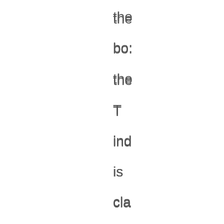the bo the T ind is cla as 'Te sp ce ph or wh ma gin so